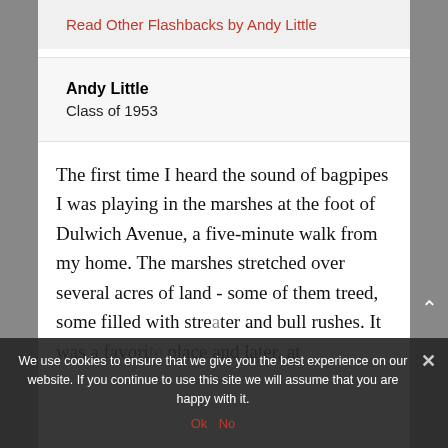Read Other Flashbacks by Andy Little
Andy Little
Class of 1953
The first time I heard the sound of bagpipes I was playing in the marshes at the foot of Dulwich Avenue, a five-minute walk from my home. The marshes stretched over several acres of land - some of them treed, some filled with stret... ater and bull rushes. It was a favorite place and later, at
We use cookies to ensure that we give you the best experience on our website. If you continue to use this site we will assume that you are happy with it.